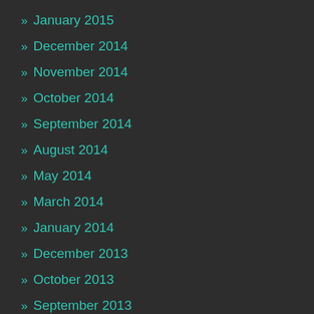» January 2015
» December 2014
» November 2014
» October 2014
» September 2014
» August 2014
» May 2014
» March 2014
» January 2014
» December 2013
» October 2013
» September 2013
» August 2013
» July 2013